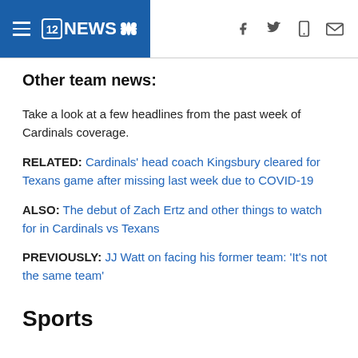12NEWS
Other team news:
Take a look at a few headlines from the past week of Cardinals coverage.
RELATED: Cardinals' head coach Kingsbury cleared for Texans game after missing last week due to COVID-19
ALSO: The debut of Zach Ertz and other things to watch for in Cardinals vs Texans
PREVIOUSLY: JJ Watt on facing his former team: 'It's not the same team'
Sports